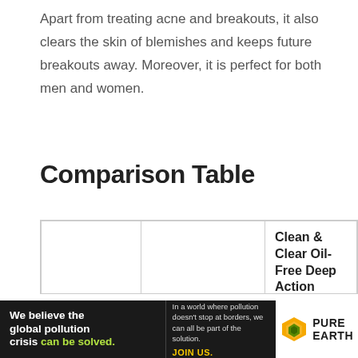Apart from treating acne and breakouts, it also clears the skin of blemishes and keeps future breakouts away. Moreover, it is perfect for both men and women.
Comparison Table
|  | Clean & Clear | Clean & Clear Oil-Free Deep Action Exfoliating Facial S… |
| --- | --- | --- |
[Figure (photo): Blue product bottle visible at bottom right of table cell]
[Figure (infographic): Advertisement banner: 'We believe the global pollution crisis can be solved.' Pure Earth logo with text about pollution not stopping at borders and call to join.]